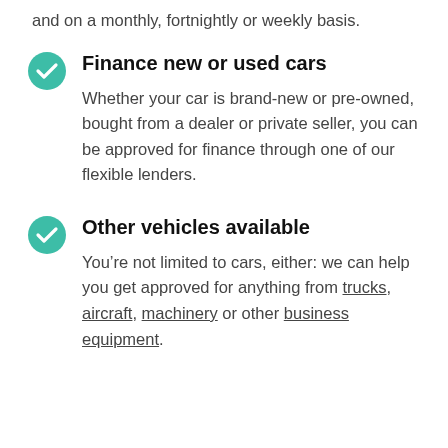and on a monthly, fortnightly or weekly basis.
Finance new or used cars
Whether your car is brand-new or pre-owned, bought from a dealer or private seller, you can be approved for finance through one of our flexible lenders.
Other vehicles available
You’re not limited to cars, either: we can help you get approved for anything from trucks, aircraft, machinery or other business equipment.